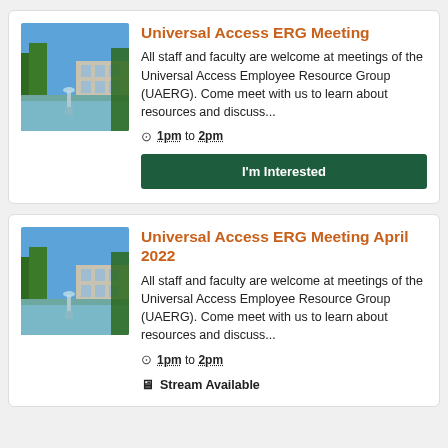Universal Access ERG Meeting
All staff and faculty are welcome at meetings of the Universal Access Employee Resource Group (UAERG). Come meet with us to learn about resources and discuss...
1pm to 2pm
I'm Interested
Universal Access ERG Meeting April 2022
All staff and faculty are welcome at meetings of the Universal Access Employee Resource Group (UAERG). Come meet with us to learn about resources and discuss...
1pm to 2pm
Stream Available